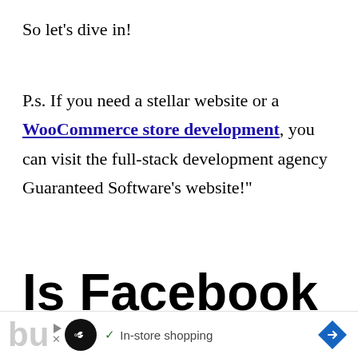So let's dive in!
P.s. If you need a stellar website or a WooCommerce store development, you can visit the full-stack development agency Guaranteed Software's website!"
Is Facebook good for small
[Figure (other): Advertisement bar at bottom: partial text 'bu', circular icon with infinity symbol, checkmark with 'In-store shopping' text, blue diamond arrow icon]